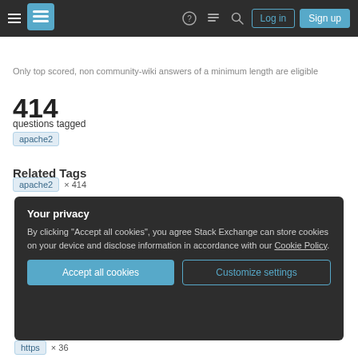Stack Exchange navigation bar with Log in and Sign up buttons
Only top scored, non community-wiki answers of a minimum length are eligible
414
questions tagged
apache2
Related Tags
apache2 × 414
Your privacy
By clicking "Accept all cookies", you agree Stack Exchange can store cookies on your device and disclose information in accordance with our Cookie Policy.
Accept all cookies
Customize settings
https × 36